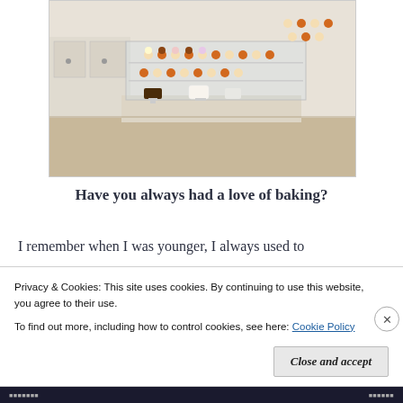[Figure (photo): Interior of a bakery shop with glass display cases showing cupcakes and cakes on tiered stands, white cabinetry, and light wood flooring.]
Have you always had a love of baking?
I remember when I was younger, I always used to
Privacy & Cookies: This site uses cookies. By continuing to use this website, you agree to their use.
To find out more, including how to control cookies, see here: Cookie Policy